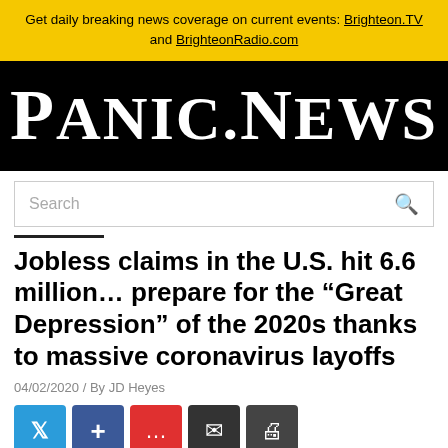Get daily breaking news coverage on current events: Brighteon.TV and BrighteonRadio.com
[Figure (logo): Panic.News logo — white bold serif text on black background]
Search
Jobless claims in the U.S. hit 6.6 million… prepare for the “Great Depression” of the 2020s thanks to massive coronavirus layoffs
04/02/2020 / By JD Heyes